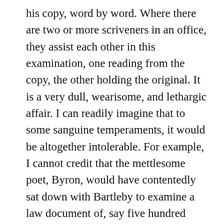his copy, word by word. Where there are two or more scriveners in an office, they assist each other in this examination, one reading from the copy, the other holding the original. It is a very dull, wearisome, and lethargic affair. I can readily imagine that to some sanguine temperaments, it would be altogether intolerable. For example, I cannot credit that the mettlesome poet, Byron, would have contentedly sat down with Bartleby to examine a law document of, say five hundred pages, closely written in a crimpy hand. Now and then, in the haste of business, it had been my habit to assist in comparing some brief document myself, calling Turkey or Nippers for this purpose. One object I had in